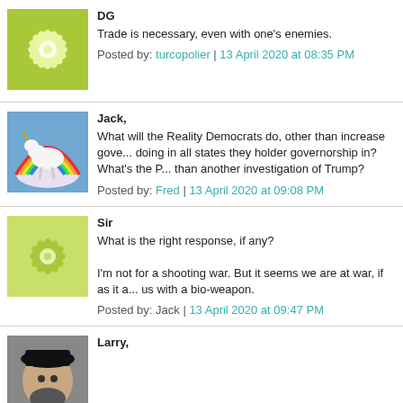DG
Trade is necessary, even with one's enemies.
Posted by: turcopolier | 13 April 2020 at 08:35 PM
Jack,
What will the Reality Democrats do, other than increase gove... doing in all states they holder governorship in? What's the P... than another investigation of Trump?
Posted by: Fred | 13 April 2020 at 09:08 PM
Sir
What is the right response, if any?
I'm not for a shooting war. But it seems we are at war, if as it a... us with a bio-weapon.
Posted by: Jack | 13 April 2020 at 09:47 PM
Larry,